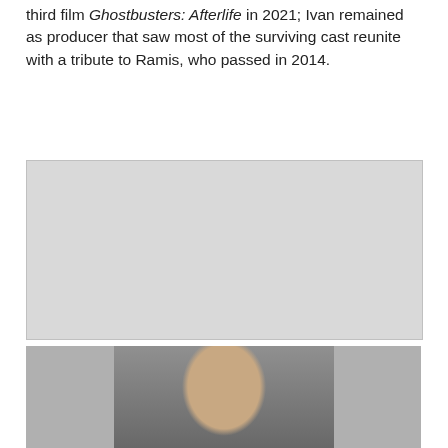third film Ghostbusters: Afterlife in 2021; Ivan remained as producer that saw most of the surviving cast reunite with a tribute to Ramis, who passed in 2014.
[Figure (photo): Gray placeholder image block]
[Figure (photo): Photo of a man with wet dark hair, shirtless, appearing to be indoors near a window with curtains]